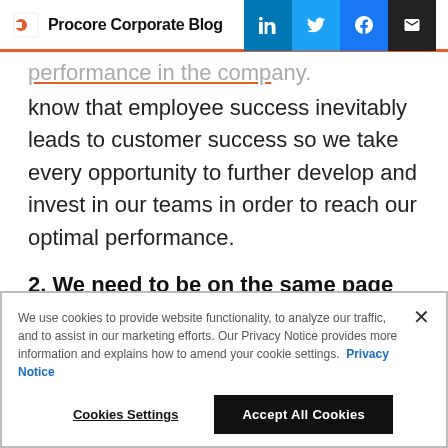Procore Corporate Blog
performance in the company. know that employee success inevitably leads to customer success so we take every opportunity to further develop and invest in our teams in order to reach our optimal performance.
2. We need to be on the same page with new product initiatives
We use cookies to provide website functionality, to analyze our traffic, and to assist in our marketing efforts. Our Privacy Notice provides more information and explains how to amend your cookie settings. Privacy Notice
Cookies Settings | Accept All Cookies